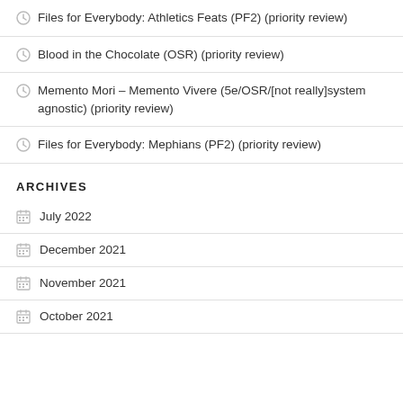Files for Everybody: Athletics Feats (PF2) (priority review)
Blood in the Chocolate (OSR) (priority review)
Memento Mori – Memento Vivere (5e/OSR/[not really]system agnostic) (priority review)
Files for Everybody: Mephians (PF2) (priority review)
ARCHIVES
July 2022
December 2021
November 2021
October 2021